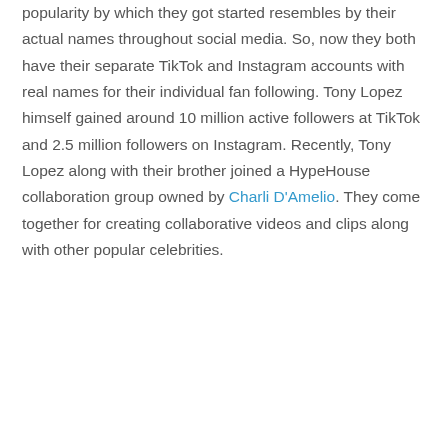popularity by which they got started resembles by their actual names throughout social media. So, now they both have their separate TikTok and Instagram accounts with real names for their individual fan following. Tony Lopez himself gained around 10 million active followers at TikTok and 2.5 million followers on Instagram. Recently, Tony Lopez along with their brother joined a HypeHouse collaboration group owned by Charli D'Amelio. They come together for creating collaborative videos and clips along with other popular celebrities.